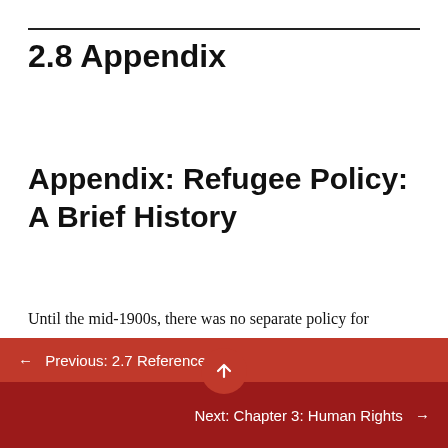2.8 Appendix
Appendix: Refugee Policy: A Brief History
Until the mid-1900s, there was no separate policy for refugee admittance to the U.S. All immigrants admitted, including refugees, needed to fall within the established quotas. During World War II, the government began
← Previous: 2.7 References
Next: Chapter 3: Human Rights →